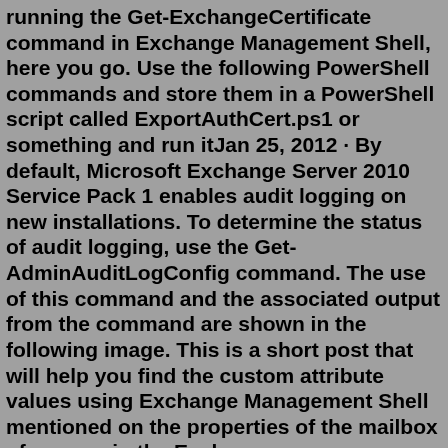running the Get-ExchangeCertificate command in Exchange Management Shell, here you go. Use the following PowerShell commands and store them in a PowerShell script called ExportAuthCert.ps1 or something and run itJan 25, 2012 · By default, Microsoft Exchange Server 2010 Service Pack 1 enables audit logging on new installations. To determine the status of audit logging, use the Get-AdminAuditLogConfig command. The use of this command and the associated output from the command are shown in the following image. This is a short post that will help you find the custom attribute values using Exchange Management Shell mentioned on the properties of the mailbox of an user in the Exchange server. Exchange server lets you add up to 15 custom attributes. So today while working, I had to query the custom attributes for around 5000 users, you can imagine how ...Also, if you are logged in directly to an on-premises Exchange server and for some reason cannot run Exchange Management Shell, you can start Windows PowerShell and load the